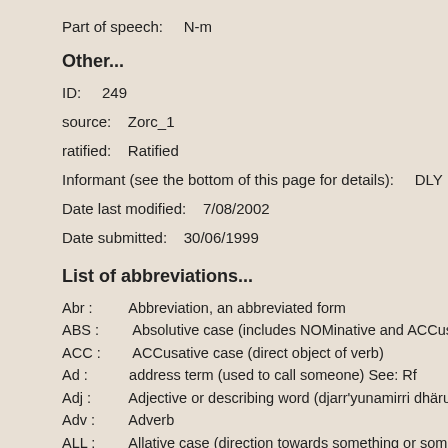Part of speech:    N-m
Other...
ID:    249
source:    Zorc_1
ratified:    Ratified
Informant (see the bottom of this page for details):    DLY
Date last modified:    7/08/2002
Date submitted:    30/06/1999
List of abbreviations...
Abr :    Abbreviation, an abbreviated form
ABS :    Absolutive case (includes NOMinative and ACCusative)
ACC :    ACCusative case (direct object of verb)
Ad :    address term (used to call someone) See: Rf
Adj :    Adjective or describing word (djarr'yunamirri dhäruk)
Adv :    Adverb
ALL :    Allative case (direction towards something or someone)